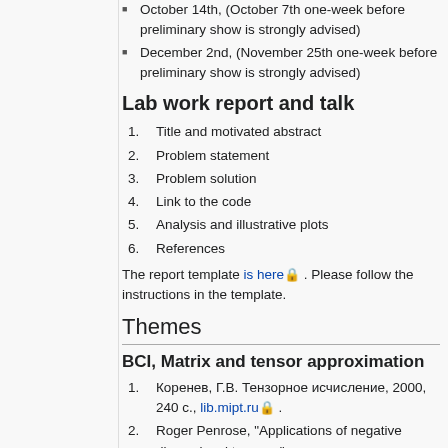October 14th, (October 7th one-week before preliminary show is strongly advised)
December 2nd, (November 25th one-week before preliminary show is strongly advised)
Lab work report and talk
1. Title and motivated abstract
2. Problem statement
3. Problem solution
4. Link to the code
5. Analysis and illustrative plots
6. References
The report template is here 🔒 . Please follow the instructions in the template.
Themes
BCI, Matrix and tensor approximation
1. Коренев, Г.В. Тензорное исчисление, 2000, 240 с., lib.mipt.ru 🔒 .
2. Roger Penrose, "Applications of negative dimensional tensors,"